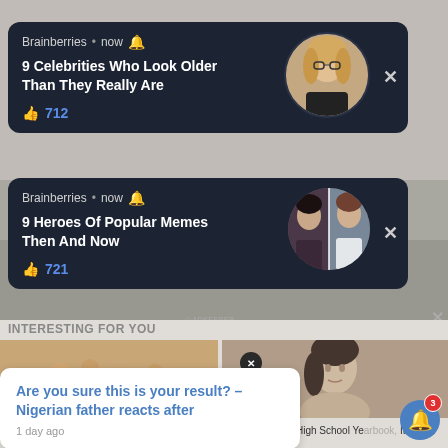HERBEAUTY
Brainberries • now 🔔
9 Celebrities Who Look Older Than They Really Are
👍 712
Brainberries • now 🔔
9 Heroes Of Popular Memes Then And Now
👍 721
INTERESTING FOR YOU
Are you sure this is your result? – Nigerian father reacts after
1 day ago
What Causes Plaque Psoriasis - It's Not What You Think
Look For Any High School Yearbook, It's Free